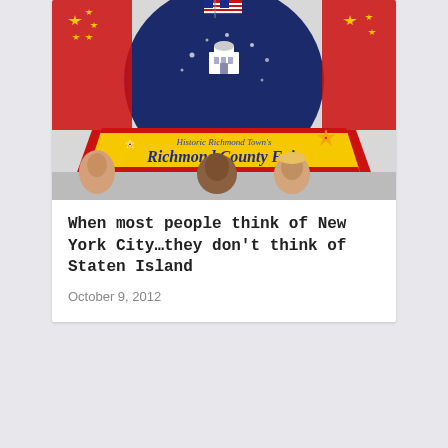[Figure (photo): Richmond County Fair banner/logo with blue dome, stars, American and Chinese flags, yellow ribbon banner reading 'Historic Richmond Town's Richmond County Fair', with small portraits of people at the bottom]
When most people think of New York City…they don't think of Staten Island
October 9, 2012